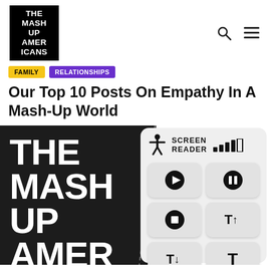[Figure (logo): The Mash Up Americans logo — black square with white bold text]
[Figure (infographic): Navigation icons: search (magnifying glass) and hamburger menu]
FAMILY
RELATIONSHIPS
Our Top 10 Posts On Empathy In A Mash-Up World
[Figure (screenshot): Screen reader accessibility widget with play, pause, stop, text-size-up, text-size-down, and text buttons, showing signal bars and accessibility icon]
[Figure (logo): The Mash Up Americans dark panel with large white bold text reading THE MASH UP AMER]